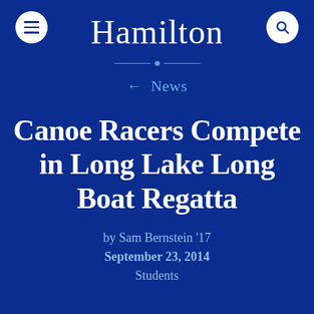Hamilton
← News
Canoe Racers Compete in Long Lake Long Boat Regatta
by Sam Bernstein '17
September 23, 2014
Students